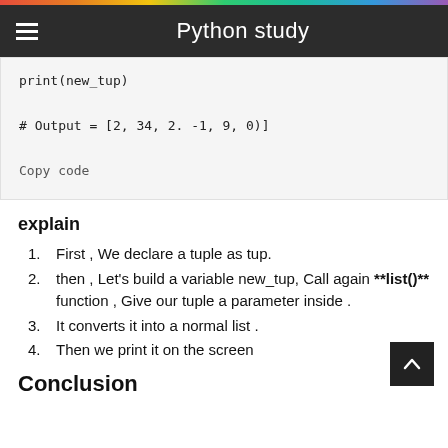Python study
print(new_tup)

# Output = [2, 34, 2. -1, 9, 0)]

Copy code
explain
First , We declare a tuple as tup.
then , Let's build a variable new_tup, Call again **list()** function , Give our tuple a parameter inside .
It converts it into a normal list .
Then we print it on the screen
Conclusion